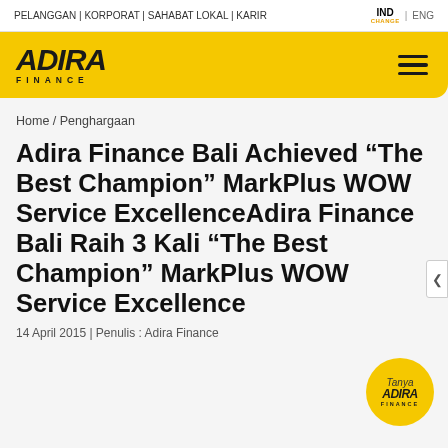PELANGGAN | KORPORAT | SAHABAT LOKAL | KARIR    IND | ENG
[Figure (logo): Adira Finance logo on yellow background with hamburger menu icon]
Home / Penghargaan
Adira Finance Bali Achieved “The Best Champion” MarkPlus WOW Service ExcellenceAdira Finance Bali Raih 3 Kali “The Best Champion” MarkPlus WOW Service Excellence
14 April 2015 | Penulis : Adira Finance